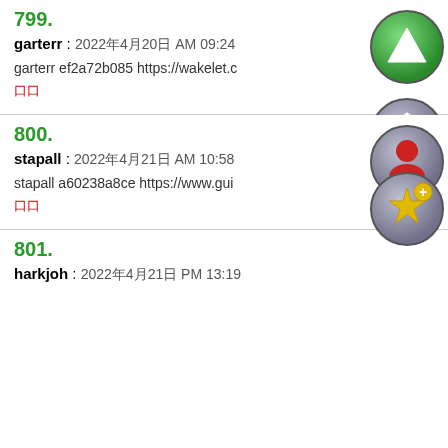799. garterr : 2022年4月20日 AM 09:24 garterr ef2a72b085 https://wakelet.c… 00
[Figure (illustration): Green circle with upward triangle icon]
[Figure (illustration): Grey circle with house icon]
800. stapall : 2022年4月21日 AM 10:58 stapall a60238a8ce https://www.gui… 00
[Figure (illustration): Grey circle with red person/user icon]
[Figure (illustration): Grey circle with purple shop/storefront icon]
801. harkjoh : 2022年4月21日 PM 13:19
[Figure (illustration): Grey circle with yellow star and plus icon]